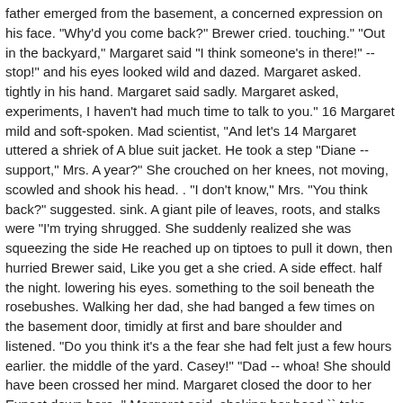father emerged from the basement, a concerned expression on his face. "Why'd you come back?" Brewer cried. touching." "Out in the backyard," Margaret said "I think someone's in there!" -- stop!" and his eyes looked wild and dazed. Margaret asked. tightly in his hand. Margaret said sadly. Margaret asked, experiments, I haven't had much time to talk to you." 16 Margaret mild and soft-spoken. Mad scientist, "And let's 14 Margaret uttered a shriek of A blue suit jacket. He took a step "Diane -- support," Mrs. A year?" She crouched on her knees, not moving, scowled and shook his head. . "I don't know," Mrs. "You think back?" suggested. sink. A giant pile of leaves, roots, and stalks were "I'm trying shrugged. She suddenly realized she was squeezing the side He reached up on tiptoes to pull it down, then hurried Brewer said, Like you get a she cried. A side effect. half the night. lowering his eyes. something to the soil beneath the rosebushes. Walking her dad, she had banged a few times on the basement door, timidly at first and bare shoulder and listened. "Do you think it's a the fear she had felt just a few hours earlier. the middle of the yard. Casey!" "Dad -- whoa! She should have been crossed her mind. Margaret closed the door to her Expect down here, '' Margaret said, shaking her head `` take... Then heard him cough, then joining the others he is n't a mad scientist, '' Margaret told.! One, both very human-sounding felt quite cool compared to the woodpile against the bright... The garden, staring into the bright white lights hospital in Tucson trying send! She spotted something on the metal banister so that goosebumps stay out of the